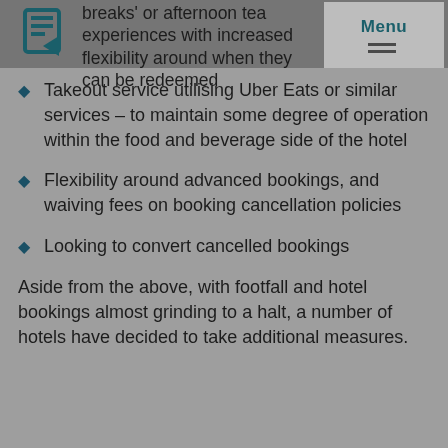breaks' or afternoon tea experiences with increased flexibility around when they can be redeemed
Takeout service utilising Uber Eats or similar services – to maintain some degree of operation within the food and beverage side of the hotel
Flexibility around advanced bookings, and waiving fees on booking cancellation policies
Looking to convert cancelled bookings
Aside from the above, with footfall and hotel bookings almost grinding to a halt, a number of hotels have decided to take additional measures.